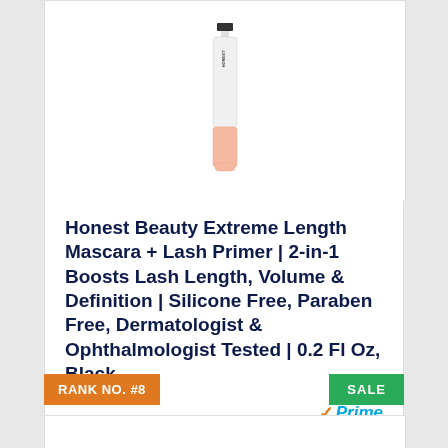[Figure (photo): Honest Beauty mascara product image - white and peach/pink tube with HONEST branding]
Honest Beauty Extreme Length Mascara + Lash Primer | 2-in-1 Boosts Lash Length, Volume & Definition | Silicone Free, Paraben Free, Dermatologist & Ophthalmologist Tested | 0.2 Fl Oz, Black
[Figure (logo): Amazon Prime badge with orange checkmark and blue Prime text]
View Product
RANK NO. #8
SALE